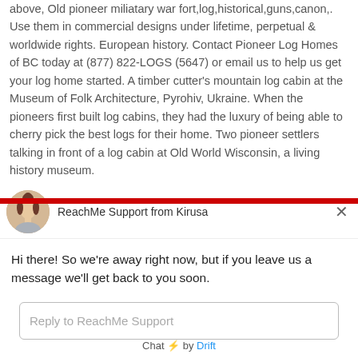above, Old pioneer miliatary war fort,log,historical,guns,canon,. Use them in commercial designs under lifetime, perpetual & worldwide rights. European history. Contact Pioneer Log Homes of BC today at (877) 822-LOGS (5647) or email us to help us get your log home started. A timber cutter's mountain log cabin at the Museum of Folk Architecture, Pyrohiv, Ukraine. When the pioneers first built log cabins, they had the luxury of being able to cherry pick the best logs for their home. Two pioneer settlers talking in front of a log cabin at Old World Wisconsin, a living history museum.
[Figure (screenshot): Chat widget overlay — ReachMe Support from Kirusa. Shows avatar of a woman, close button (X), message 'Hi there! So we're away right now, but if you leave us a message we'll get back to you soon.', reply input box labeled 'Reply to ReachMe Support', and footer 'Chat ⚡ by Drift'.]